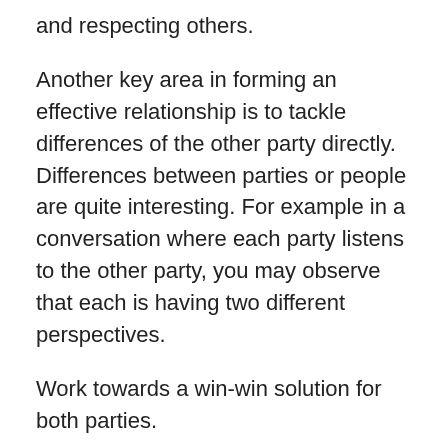and respecting others.
Another key area in forming an effective relationship is to tackle differences of the other party directly. Differences between parties or people are quite interesting. For example in a conversation where each party listens to the other party, you may observe that each is having two different perspectives.
Work towards a win-win solution for both parties.
This can be done when at least one party acknowledges that the relationship is important. That party would then exert more time, effort and energy to understand the other party's needs and deal with it to get it out of the way. Should they fail, it is comforting for that party to know that they